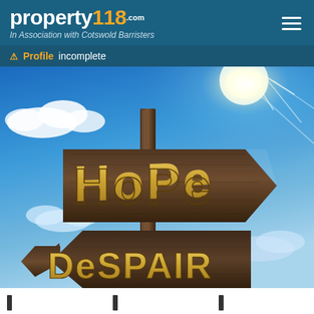property118.com — In Association with Cotswold Barristers
⚠ Profile incomplete
[Figure (photo): Wooden directional signpost against a bright blue sky with clouds and a sunburst. The upper sign points right and reads 'Hope' in large golden letters. The lower sign points left and reads 'Despair' in large golden letters. A wooden post supports both signs.]